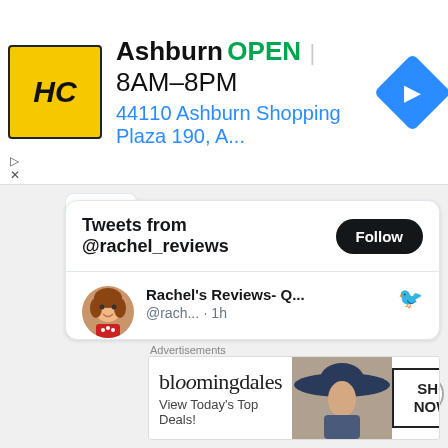[Figure (screenshot): HC (Hair Club) local business ad banner showing logo, Ashburn location, OPEN status, hours 8AM-8PM, address 44110 Ashburn Shopping Plaza 190, A..., and navigation arrow icon]
[Figure (screenshot): Twitter/X embedded widget showing tweets from @rachel_reviews with a Follow button, and a tweet by Rachel's Reviews- Q... (@rach...) posted 1 hour ago saying 'Nobody has been able to convince me that loud indecipherable movie TENET is good...' with a video thumbnail showing a woman and Strays movie overlay with a play button]
Advertisements
[Figure (screenshot): Bloomingdale's advertisement banner showing logo, 'View Today's Top Deals!' text, woman in hat image, and SHOP NOW > button]